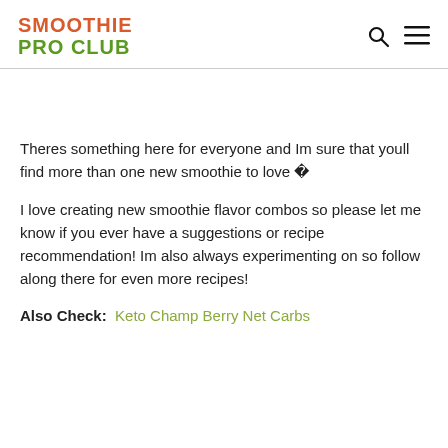SMOOTHIE PRO CLUB
Theres something here for everyone and Im sure that youll find more than one new smoothie to love 🍓
I love creating new smoothie flavor combos so please let me know if you ever have a suggestions or recipe recommendation! Im also always experimenting on so follow along there for even more recipes!
Also Check: Keto Champ Berry Net Carbs